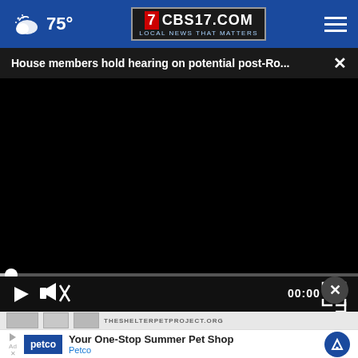75° CBS17.COM LOCAL NEWS THAT MATTERS
House members hold hearing on potential post-Ro... ×
[Figure (screenshot): Black video player area with playback controls: play button, mute button, timestamp 00:00, fullscreen button, and a scrubber bar]
[Figure (screenshot): Petco advertisement banner: Your One-Stop Summer Pet Shop / Petco, with petco logo and navigation arrow icon]